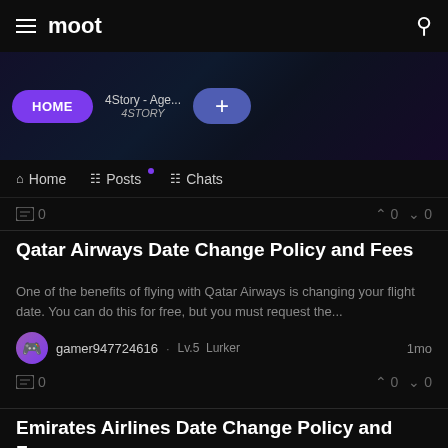moot
[Figure (screenshot): Tab banner with HOME, 4Story - Age..., and + tabs over a dark blurred background]
Home  Posts  Chats
0  0  0
Qatar Airways Date Change Policy and Fees
One of the benefits of flying with Qatar Airways is changing your flight date. You can do this for free, but you must request the...
gamer947724616 · Lv.5 Lurker  1mo
0  0  0
Emirates Airlines Date Change Policy and Fees
How to Change Flight Date on Emirates Airlines. You can...